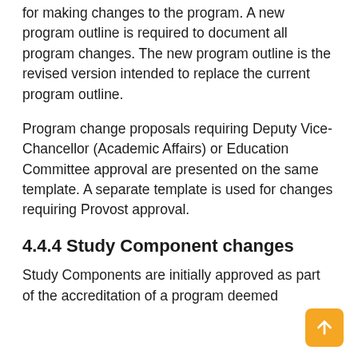for making changes to the program. A new program outline is required to document all program changes. The new program outline is the revised version intended to replace the current program outline.
Program change proposals requiring Deputy Vice-Chancellor (Academic Affairs) or Education Committee approval are presented on the same template. A separate template is used for changes requiring Provost approval.
4.4.4 Study Component changes
Study Components are initially approved as part of the accreditation of a program deemed